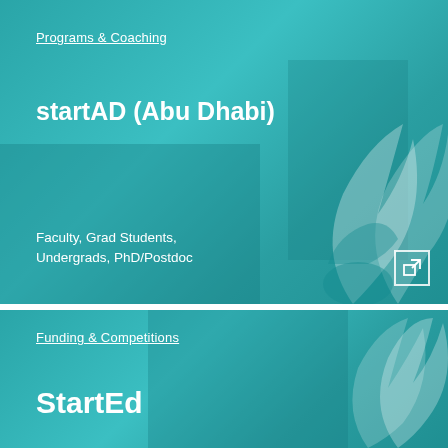[Figure (infographic): Teal card with classroom background. Category label 'Programs & Coaching' underlined, bold title 'startAD (Abu Dhabi)', audience text 'Faculty, Grad Students, Undergrads, PhD/Postdoc', decorative flame logo and external link icon bottom right.]
[Figure (infographic): Teal card with background. Category label 'Funding & Competitions' underlined, bold title 'StartEd', partial decorative flame logo bottom right.]